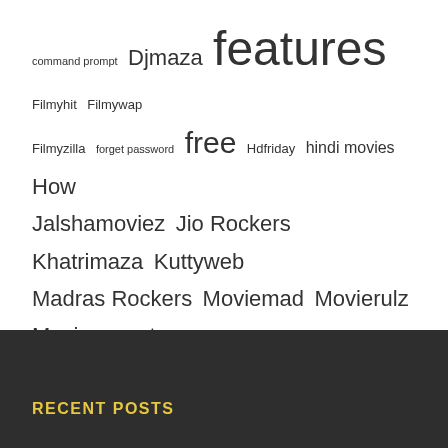command prompt Djmaza features Filmyhit Filmywap Filmyzilla forget password free Hdfriday hindi movies How Jalshamoviez Jio Rockers Khatrimaza Kuttyweb Madras Rockers Moviemad Movierulz Moviescounter Moviesda MoviesJatt MoviezWap recover remove password reset password social networking software TamilGun Tamilrockers top tricks websites windows windows password reset windows software
RECENT POSTS